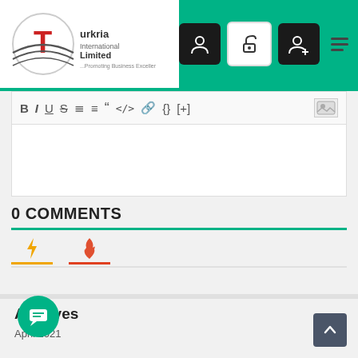[Figure (screenshot): Turkria International Limited website header with logo on left and navigation icons (user, unlock, add-user) on green background on right, plus hamburger menu]
[Figure (screenshot): Text editor toolbar with formatting icons: B, I, U, S, ordered list, unordered list, blockquote, code, link, braces, [+], and image icon]
0 COMMENTS
[Figure (screenshot): Comment tabs with lightning bolt icon (yellow underline) and flame icon (red underline)]
Archives
April 2021